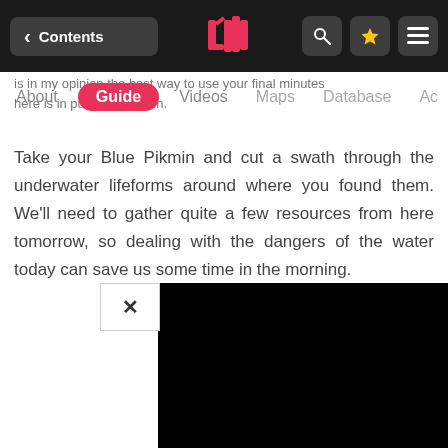< Contents [logo] [search] [star] [menu]
...is in my opinion the best way to use your final minutes here is in pure destruction.
About | Guide | Videos | Maps | Database | Ac...
Take your Blue Pikmin and cut a swath through the underwater lifeforms around where you found them. We'll need to gather quite a few resources from here tomorrow, so dealing with the dangers of the water today can save us some time in the morning.
[Figure (screenshot): Black video/popup panel with a close (X) button in the upper-left corner, partially visible in the lower-right portion of the screen.]